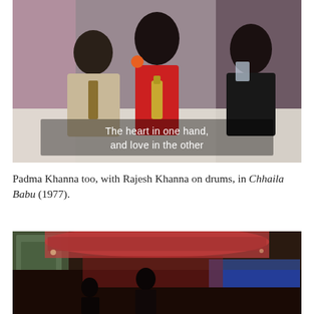[Figure (photo): Film still from a 1970s Bollywood movie showing three actors seated at a table. On the left, a man in a light suit with a patterned tie looks toward a woman in the center who wears a red outfit and holds a bottle. On the right, another man in dark clothing drinks from a glass. Subtitle text reads: 'The heart in one hand, and love in the other'.]
Padma Khanna too, with Rajesh Khanna on drums, in Chhaila Babu (1977).
[Figure (photo): Partially visible film still from the bottom of the page showing a nightclub or performance scene with ornate carved stone-like architecture and colorful stage lighting in red and blue tones, with a figure visible in the lower center.]